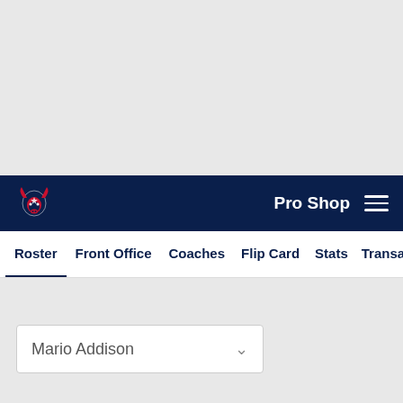Houston Texans navigation bar with logo, Pro Shop link, and hamburger menu
Roster | Front Office | Coaches | Flip Card | Stats | Transactions
Mario Addison dropdown